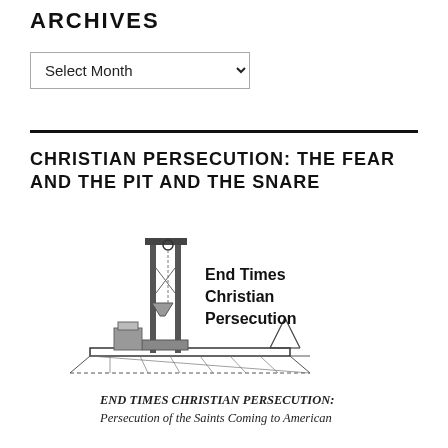ARCHIVES
Select Month
CHRISTIAN PERSECUTION: THE FEAR AND THE PIT AND THE SNARE
[Figure (illustration): Drawing of a guillotine on a platform with the text 'End Times Christian Persecution' beside it]
END TIMES CHRISTIAN PERSECUTION: Persecution of the Saints Coming to American